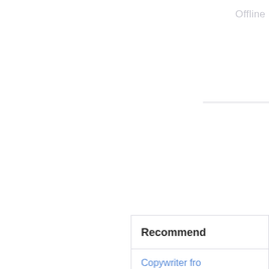Offline
Recommend
Copywriter fro
Copywriter fo